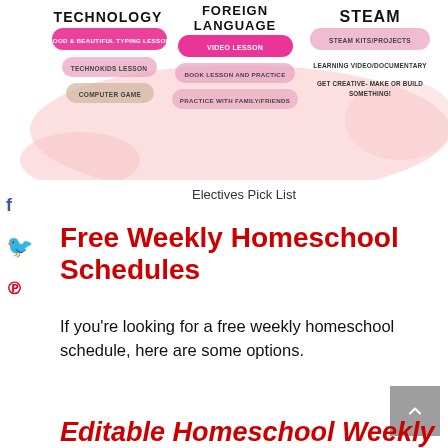[Figure (infographic): Electives Pick List infographic with three columns: TECHNOLOGY (options: Good & Beautiful Typing Lesson, Technokids Lesson, Computer Game), FOREIGN LANGUAGE (options: Video Lesson, Book Lesson and Practice, Practice with Family/Friends), STEAM (options: Steam Kits/Projects, Learning Video/Documentary, Get Creative- Make or Build Something!). Pink blob background shapes.]
Electives Pick List
Free Weekly Homeschool Schedules
If you’re looking for a free weekly homeschool schedule, here are some options.
Editable Homeschool Weekly